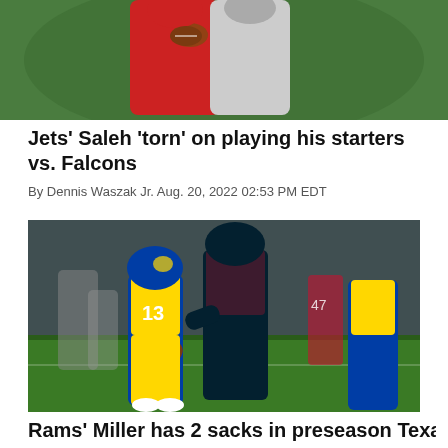[Figure (photo): Football players, quarterback in red jersey holding ball, partially cropped at top]
Jets' Saleh 'torn' on playing his starters vs. Falcons
By Dennis Waszak Jr. Aug. 20, 2022 02:53 PM EDT
[Figure (photo): LA Rams quarterback in blue and yellow uniform being tackled by Texans defender in dark uniform, indoor stadium]
Rams' Miller has 2 sacks in preseason Texans...